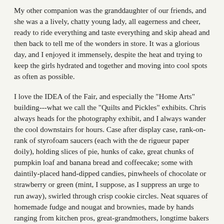My other companion was the granddaughter of our friends, and she was a a lively, chatty young lady, all eagerness and cheer, ready to ride everything and taste everything and skip ahead and then back to tell me of the wonders in store. It was a glorious day, and I enjoyed it immensely, despite the heat and trying to keep the girls hydrated and together and moving into cool spots as often as possible.
I love the IDEA of the Fair, and especially the "Home Arts" building---what we call the "Quilts and Pickles" exhibits. Chris always heads for the photography exhibit, and I always wander the cool downstairs for hours. Case after display case, rank-on-rank of styrofoam saucers (each with the de rigueur paper doily), holding slices of pie, hunks of cake, great chunks of pumpkin loaf and banana bread and coffeecake; some with daintily-placed hand-dipped candies, pinwheels of chocolate or strawberry or green (mint, I suppose, as I suppress an urge to run away), swirled through crisp cookie circles. Neat squares of homemade fudge and nougat and brownies, made by hands ranging from kitchen pros, great-grandmothers, longtime bakers and cooks, to the newest in the line: 4-H and Girl Scout and Brownie members, setting their rice crispie squares and haystacks and roll-and-slice cookies right